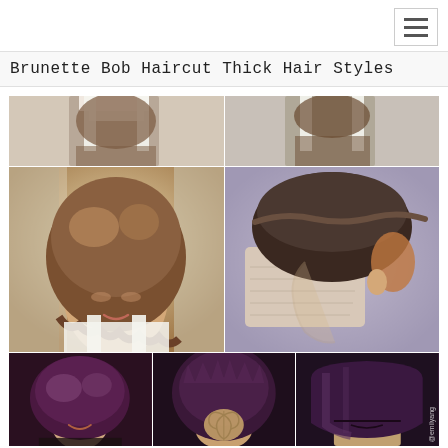Brunette Bob Haircut Thick Hair Styles
[Figure (photo): Collage of women with various brunette bob and short haircut styles. Top row shows shoulder/back views in white tank tops. Middle row shows two women: left with a wavy asymmetrical bob (brunette with highlights, warm tones), right with a shaved undercut side profile (dark hair with braid). Bottom row shows three views of dark purple/maroon short bob styles including a back view with decorative shaved pattern and a straight bob back view with watermark '@emilyang'.]